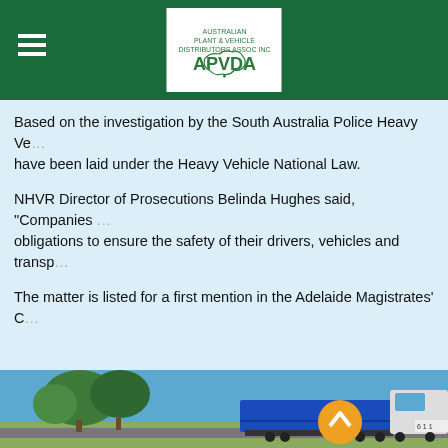APVDA header with logo and hamburger menu
Based on the investigation by the South Australia Police Heavy Ve... have been laid under the Heavy Vehicle National Law.
NHVR Director of Prosecutions Belinda Hughes said, “Companies ... obligations to ensure the safety of their drivers, vehicles and transp...
The matter is listed for a first mention in the Adelaide Magistrates’ C...
[Figure (photo): A blue semi-trailer truck on a highway with eucalyptus trees in the background under a blue sky. An orange circular logo with a white chevron is overlaid on the right side of the image.]